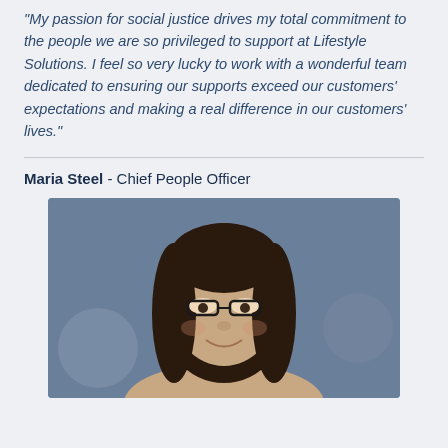“My passion for social justice drives my total commitment to the people we are so privileged to support at Lifestyle Solutions. I feel so very lucky to work with a wonderful team dedicated to ensuring our supports exceed our customers’ expectations and making a real difference in our customers’ lives.”
Maria Steel - Chief People Officer
[Figure (photo): Professional headshot of Maria Steel, Chief People Officer. A woman with long dark hair and glasses, smiling, against a blurred dark background.]